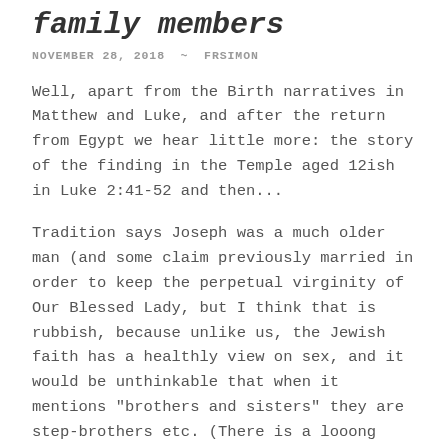family members
NOVEMBER 28, 2018  ~  FRSIMON
Well, apart from the Birth narratives in Matthew and Luke, and after the return from Egypt we hear little more: the story of the finding in the Temple aged 12ish in Luke 2:41-52 and then...
Tradition says Joseph was a much older man (and some claim previously married in order to keep the perpetual virginity of Our Blessed Lady, but I think that is rubbish, because unlike us, the Jewish faith has a healthly view on sex, and it would be unthinkable that when it mentions "brothers and sisters" they are step-brothers etc. (There is a looong discussion to be had on Mary, who isimportant, but essentially all the ever-virgin